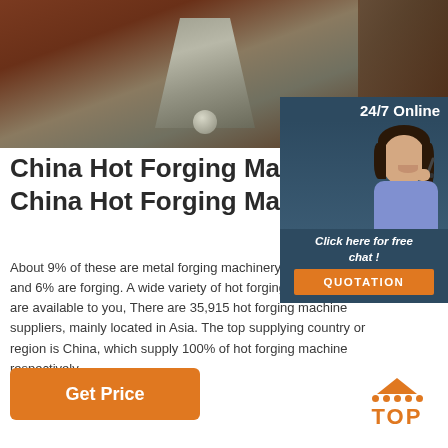[Figure (photo): Close-up photo of hot forging machine metal components, showing metallic pressing die or tool in brown/rust colored industrial setting]
China Hot Forging Machine China Hot Forging Machine
About 9% of these are metal forging machinery, hydraulic press, and 6% are forging. A wide variety of hot forging machine options are available to you, There are 35,915 hot forging machine suppliers, mainly located in Asia. The top supplying country or region is China, which supply 100% of hot forging machine respectively.
[Figure (other): 24/7 online chat widget with customer service representative avatar, 'Click here for free chat!' text and QUOTATION button]
Get Price
[Figure (other): TOP button with orange triangle and dots icon and orange TOp text]